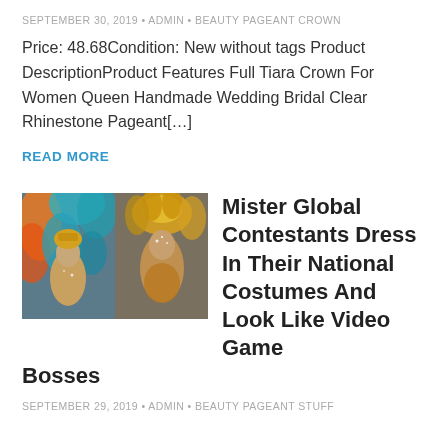SEPTEMBER 30, 2019 • ADMIN • BEAUTY PAGEANT CROWN
Price: 48.68Condition: New without tags Product DescriptionProduct Features Full Tiara Crown For Women Queen Handmade Wedding Bridal Clear Rhinestone Pageant[…]
READ MORE
[Figure (photo): Two pageant contestants in elaborate national costumes with feathered headdresses and ornate gold accessories]
Mister Global Contestants Dress In Their National Costumes And Look Like Video Game Bosses
SEPTEMBER 29, 2019 • ADMIN • BEAUTY PAGEANT STUFF